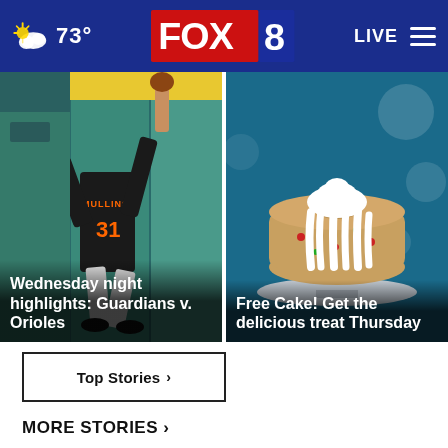73° FOX 8 LIVE
[Figure (photo): Baseball player #31 Mullins climbing outfield wall to make catch, teal wall background. Overlay text: Wednesday night highlights: Guardians v. Orioles]
[Figure (photo): Bundt cake with white cream drizzle on a plate, teal background. Overlay text: Free Cake! Get the delicious treat Thursday]
Top Stories ›
MORE STORIES ›